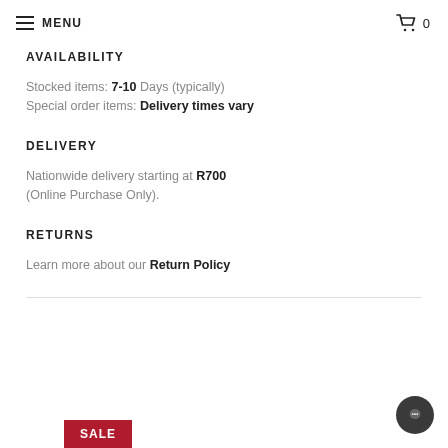MENU  0
AVAILABILITY
Stocked items: 7-10 Days (typically)
Special order items: Delivery times vary
DELIVERY
Nationwide delivery starting at R700 (Online Purchase Only).
RETURNS
Learn more about our Return Policy